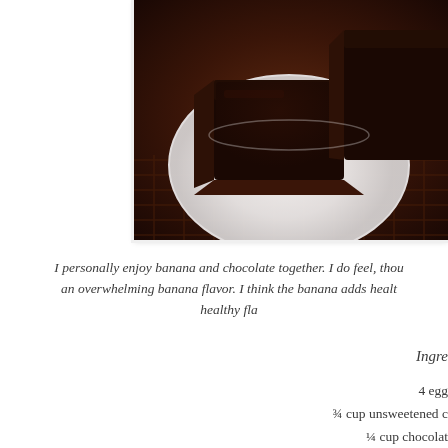[Figure (photo): Close-up photo of dark chocolate brownies stacked on a white plate, set on a woven basket/rattan surface. The brownies are deeply dark chocolate colored with a glossy chocolate topping.]
I personally enjoy banana and chocolate together. I do feel, thou an overwhelming banana flavor. I think the banana adds healt healthy fla
Ingre
4 egg
¾ cup unsweetened c
¼ cup chocolat
½ cup bana